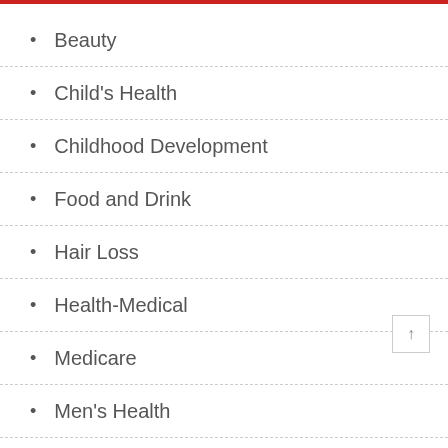Beauty
Child's Health
Childhood Development
Food and Drink
Hair Loss
Health-Medical
Medicare
Men's Health
Woman's Health